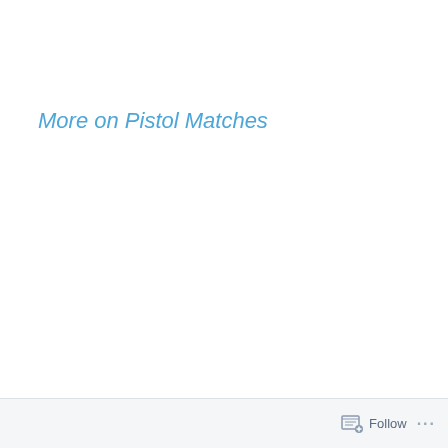More on Pistol Matches
Follow ...